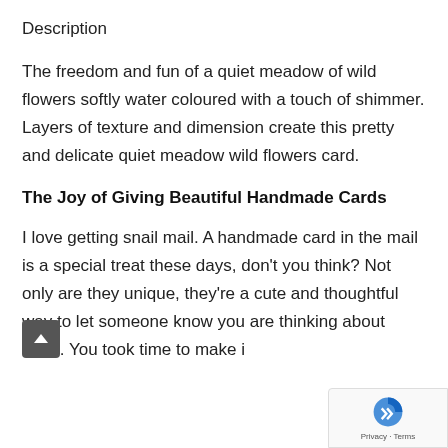Description
The freedom and fun of a quiet meadow of wild flowers softly water coloured with a touch of shimmer. Layers of texture and dimension create this pretty and delicate quiet meadow wild flowers card.
The Joy of Giving Beautiful Handmade Cards
I love getting snail mail. A handmade card in the mail is a special treat these days, don't you think? Not only are they unique, they're a cute and thoughtful way to let someone know you are thinking about them. You took time to make i…